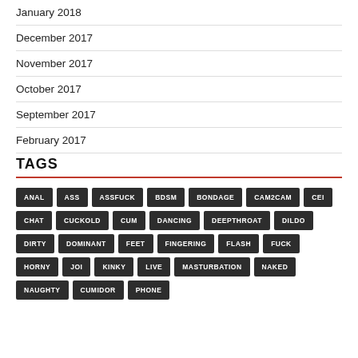January 2018
December 2017
November 2017
October 2017
September 2017
February 2017
TAGS
ANAL
ASS
ASSFUCK
BDSM
BONDAGE
CAM2CAM
CEI
CHAT
CUCKOLD
CUM
DANCING
DEEPTHROAT
DILDO
DIRTY
DOMINANT
FEET
FINGERING
FLASH
FUCK
HORNY
JOI
KINKY
LIVE
MASTURBATION
NAKED
NAUGHTY
CUMIDOR
PHONE